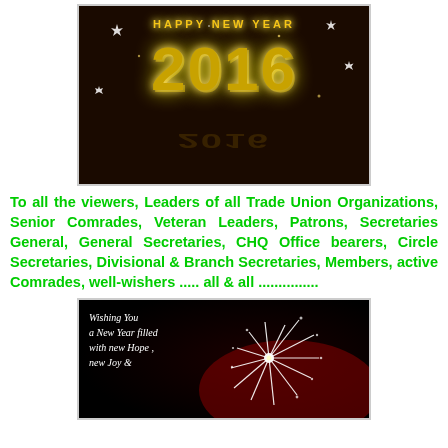[Figure (illustration): Happy New Year 2016 image with golden bejeweled numbers on dark background with sparkles]
To all the viewers, Leaders of all Trade Union Organizations, Senior Comrades, Veteran Leaders, Patrons, Secretaries General, General Secretaries, CHQ Office bearers, Circle Secretaries, Divisional & Branch Secretaries, Members, active Comrades, well-wishers ..... all & all ...............
[Figure (illustration): New Year greeting card with fireworks burst and text: Wishing You a New Year filled with new Hope , new Joy &]